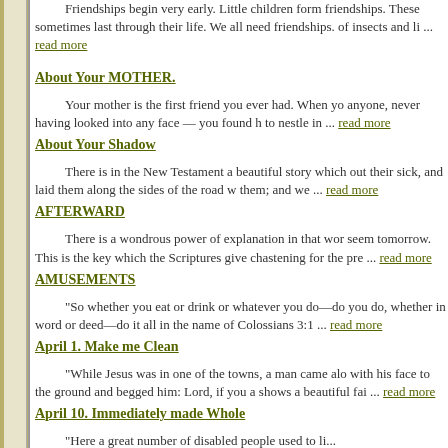Friendships begin very early. Little children form friendships. These sometimes last through their life. We all need friendships. of insects and li ... read more
About Your MOTHER.
Your mother is the first friend you ever had. When you — not knowing anyone, never having looked into any face — you found her arms and her heart to nestle in ... read more
About Your Shadow
There is in the New Testament a beautiful story which out their sick, and laid them along the sides of the road w them; and we ... read more
AFTERWARD
There is a wondrous power of explanation in that wor seem tomorrow. This is the key which the Scriptures give chastening for the pre ... read more
AMUSEMENTS
"So whether you eat or drink or whatever you do—do you do, whether in word or deed—do it all in the name of Colossians 3:1 ... read more
April 1. Make me Clean
"While Jesus was in one of the towns, a man came alo with his face to the ground and begged him: Lord, if you a shows a beautiful fai ... read more
April 10. Immediately made Whole
"Here a great number of disabled people used to li...